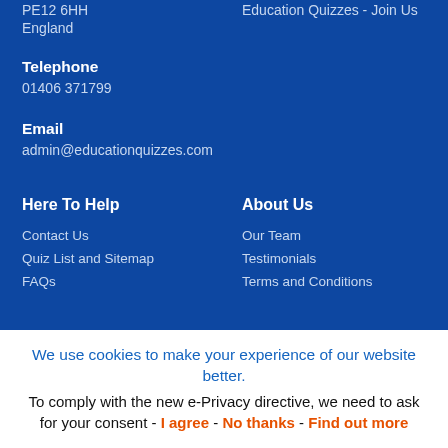PE12 6HH
England
Education Quizzes - Join Us
Telephone
01406 371799
Email
admin@educationquizzes.com
Here To Help
About Us
Contact Us
Our Team
Quiz List and Sitemap
Testimonials
FAQs
Terms and Conditions
We use cookies to make your experience of our website better.
To comply with the new e-Privacy directive, we need to ask for your consent - I agree - No thanks - Find out more